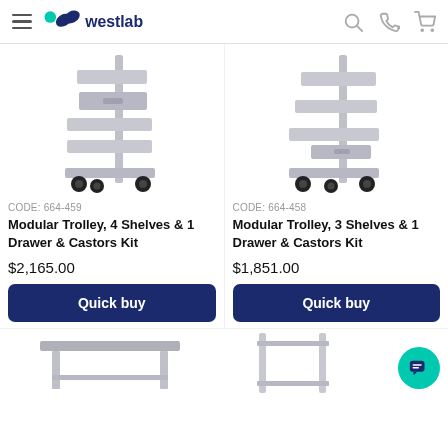westlab
[Figure (photo): Modular trolley with 4 shelves, 1 drawer and castors kit on white background]
[Figure (photo): Modular trolley with 3 shelves, 1 drawer and castors kit on white background]
CODE: 664-459
Modular Trolley, 4 Shelves & 1 Drawer & Castors Kit
$2,165.00
Quick buy
CODE: 664-458
Modular Trolley, 3 Shelves & 1 Drawer & Castors Kit
$1,851.00
Quick buy
[Figure (photo): Lab table/bench partial view at bottom left]
[Figure (photo): Metal frame/stand partial view at bottom right]